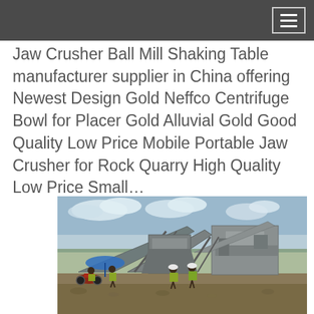Jaw Crusher Ball Mill Shaking Table manufacturer supplier in China offering Newest Design Gold Neffco Centrifuge Bowl for Placer Gold Alluvial Gold Good Quality Low Price Mobile Portable Jaw Crusher for Rock Quarry High Quality Low Price Small…
[Figure (photo): Outdoor photo of a large mobile crushing/screening plant with conveyor belts and industrial machinery. Workers in high-visibility yellow vests and white hard hats stand in the foreground on rocky ground. A red motorcycle and a blue umbrella are visible on the left side. Overcast sky with clouds in background.]